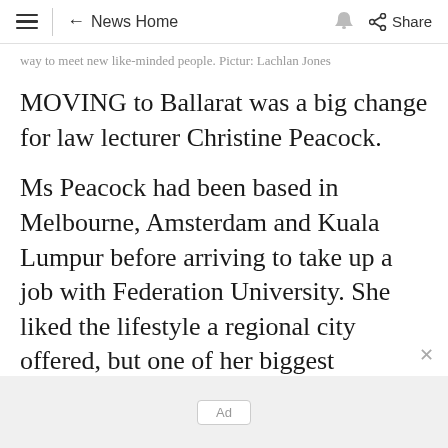≡ | ← News Home 🔔 Share
way to meet new like-minded people. Pictur: Lachlan Jones
MOVING to Ballarat was a big change for law lecturer Christine Peacock.
Ms Peacock had been based in Melbourne, Amsterdam and Kuala Lumpur before arriving to take up a job with Federation University. She liked the lifestyle a regional city offered, but one of her biggest challenges was meeting like-minded people.
[Figure (other): Ad placeholder at bottom of page]